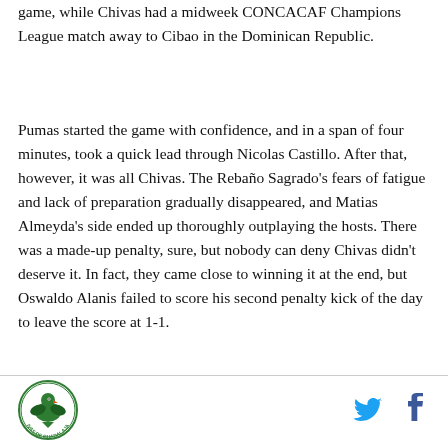game, while Chivas had a midweek CONCACAF Champions League match away to Cibao in the Dominican Republic.
Pumas started the game with confidence, and in a span of four minutes, took a quick lead through Nicolas Castillo. After that, however, it was all Chivas. The Rebaño Sagrado's fears of fatigue and lack of preparation gradually disappeared, and Matias Almeyda's side ended up thoroughly outplaying the hosts. There was a made-up penalty, sure, but nobody can deny Chivas didn't deserve it. In fact, they came close to winning it at the end, but Oswaldo Alanis failed to score his second penalty kick of the day to leave the score at 1-1.
[Figure (logo): Circular sports team logo with eagle/bird and text, green and white colors]